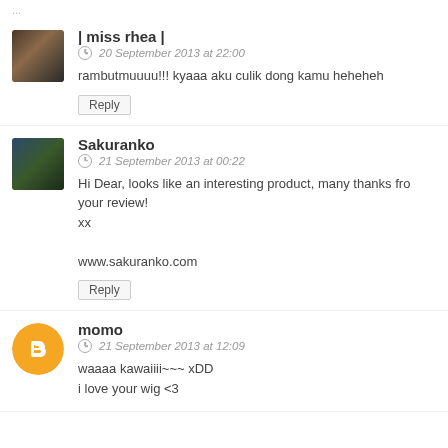| miss rhea |
20 September 2013 at 22:00
rambutmuuuu!!! kyaaa aku culik dong kamu heheheh
Reply
Sakuranko
21 September 2013 at 00:22
Hi Dear, looks like an interesting product, many thanks fro your review!
xx

www.sakuranko.com
Reply
momo
21 September 2013 at 12:09
waaaa kawaiiii~~~ xDD
i love your wig <3